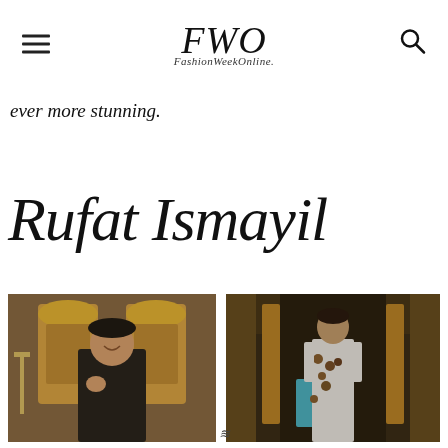FWO FashionWeekOnline.
ever more stunning.
Rufat Ismayil
[Figure (photo): Fashion designer Rufat Ismayil in all-black outfit standing in front of an ornate church altar with golden icons and candelabras]
[Figure (photo): Female model wearing a white gown with dark floral embellishments walking the runway in an ornate church venue with golden architectural elements]